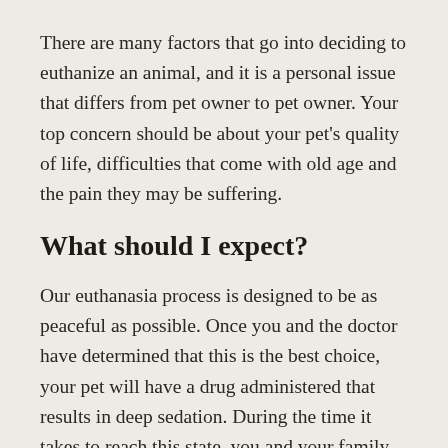There are many factors that go into deciding to euthanize an animal, and it is a personal issue that differs from pet owner to pet owner. Your top concern should be about your pet's quality of life, difficulties that come with old age and the pain they may be suffering.
What should I expect?
Our euthanasia process is designed to be as peaceful as possible. Once you and the doctor have determined that this is the best choice, your pet will have a drug administered that results in deep sedation. During the time it takes to reach this state, you and your family remain with your pet. It is a quiet few minutes of saying good-bye. Many people choose to leave at this point, having bid their pet farewell, taking comfort in knowing it